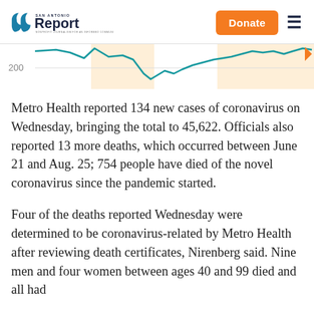San Antonio Report — Donate
[Figure (continuous-plot): Partial view of a line chart showing COVID-19 case counts over time with a teal line and orange shaded background regions. Y-axis shows value 200. The chart is cropped at the top of the visible area.]
Metro Health reported 134 new cases of coronavirus on Wednesday, bringing the total to 45,622. Officials also reported 13 more deaths, which occurred between June 21 and Aug. 25; 754 people have died of the novel coronavirus since the pandemic started.
Four of the deaths reported Wednesday were determined to be coronavirus-related by Metro Health after reviewing death certificates, Nirenberg said. Nine men and four women between ages 40 and 99 died and all had